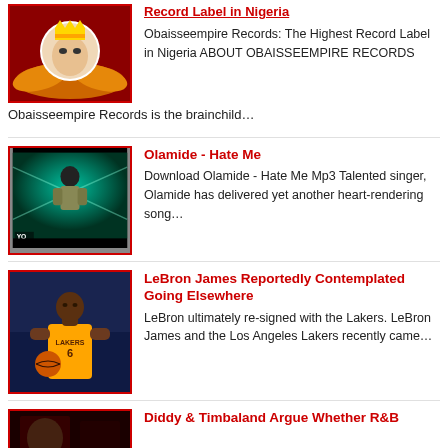[Figure (photo): Record label logo with baby wearing crown on red background with golden wings]
Record Label in Nigeria
Obaisseempire Records: The Highest Record Label in Nigeria ABOUT OBAISSEEMPIRE RECORDS
Obaisseempire Records is the brainchild…
[Figure (screenshot): Olamide music video screenshot with teal/green background and YO watermark]
Olamide - Hate Me
Download Olamide - Hate Me Mp3 Talented singer, Olamide has delivered yet another heart-rendering song…
[Figure (photo): LeBron James in Lakers #6 yellow jersey holding basketball]
LeBron James Reportedly Contemplated Going Elsewhere
LeBron ultimately re-signed with the Lakers. LeBron James and the Los Angeles Lakers recently came…
[Figure (photo): Dark red toned photo related to Diddy and Timbaland article]
Diddy & Timbaland Argue Whether R&B